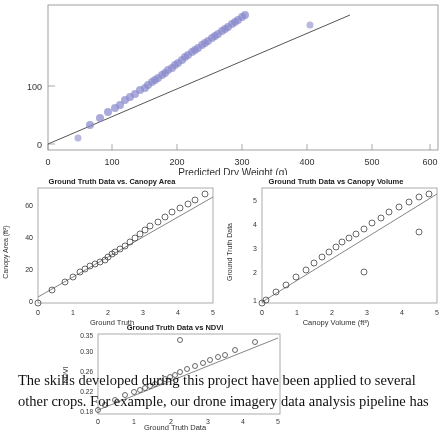[Figure (continuous-plot): Scatter plot (top, partial): Predicted Dry Weight (g) on x-axis (0 to 600), y-axis (0 to ~100+), dense cluster of blue/purple points along a diagonal trend line]
[Figure (continuous-plot): Scatter plot: Ground Truth Data vs. Canopy Area. X-axis: Ground Truth (0-5), Y-axis: Canopy Area (ft^2) (0-60). Open circles with trend line.]
[Figure (continuous-plot): Scatter plot: Ground Truth Data vs Canopy Volume. X-axis: Canopy Volume (ft^3) (0-5), Y-axis: Ground Truth Data (1-6). Open circles with trend line.]
[Figure (continuous-plot): Scatter plot: Ground Truth Data vs NDVI. X-axis: Ground Truth Data (0-5), Y-axis: NDVI (0.18-0.35). Open circles with trend line.]
The skills developed during this project have been applied to several other crops. For example, our drone imagery data analysis pipeline has